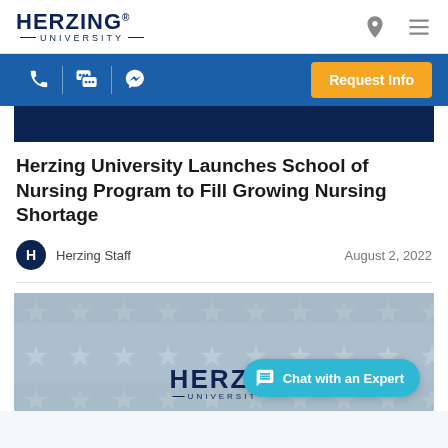HERZING UNIVERSITY
[Figure (screenshot): Herzing University website navigation bar with logo, location pin icon, and hamburger menu icon]
[Figure (screenshot): Blue icon bar with phone, chat, and messenger icons, and an orange Request Info button]
[Figure (screenshot): Dark blue banner strip at top of article]
Herzing University Launches School of Nursing Program to Fill Growing Nursing Shortage
Herzing Staff    August 2, 2022
[Figure (photo): Herzing University branded image with American flag star pattern background showing HERZING UNIVERSITY logo text, partially covered by a teal Chat with an Expert button]